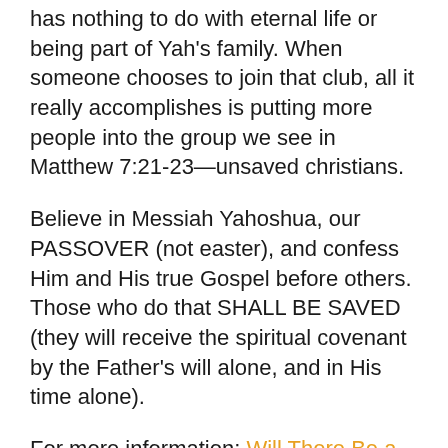has nothing to do with eternal life or being part of Yah's family. When someone chooses to join that club, all it really accomplishes is putting more people into the group we see in Matthew 7:21-23—unsaved christians.
Believe in Messiah Yahoshua, our PASSOVER (not easter), and confess Him and His true Gospel before others. Those who do that SHALL BE SAVED (they will receive the spiritual covenant by the Father's will alone, and in His time alone).
For more information: Will There Be a Pre-Tribulation Rapture?
Share This via Social Media, Email, Text, & More!